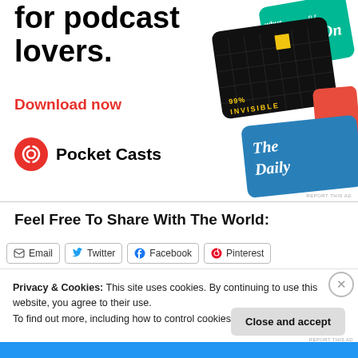[Figure (illustration): Pocket Casts advertisement showing podcast app cards (99% Invisible, The Daily, WBUR, On...) arranged as overlapping cards on the right side, with bold headline text 'for podcast lovers.' and 'Download now' in red, and the Pocket Casts logo at the bottom left of the ad.]
Feel Free To Share With The World:
Email Twitter Facebook Pinterest
Privacy & Cookies: This site uses cookies. By continuing to use this website, you agree to their use.
To find out more, including how to control cookies, see here: Cookie Policy
Close and accept